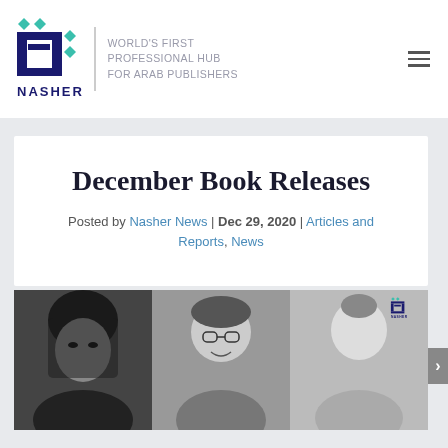[Figure (logo): Nasher logo — stylized Arabic lettering with teal diamond accents, dark navy text 'NASHER', vertical divider, tagline 'WORLD'S FIRST PROFESSIONAL HUB FOR ARAB PUBLISHERS']
December Book Releases
Posted by Nasher News | Dec 29, 2020 | Articles and Reports, News
[Figure (photo): Three black-and-white portrait photos of women side by side; third photo has a small Nasher logo watermark in the top-right corner]